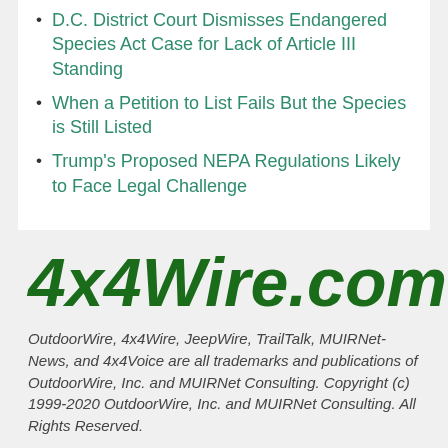D.C. District Court Dismisses Endangered Species Act Case for Lack of Article III Standing
When a Petition to List Fails But the Species is Still Listed
Trump's Proposed NEPA Regulations Likely to Face Legal Challenge
[Figure (logo): 4x4Wire.com logo in bold dark green italic text]
OutdoorWire, 4x4Wire, JeepWire, TrailTalk, MUIRNet-News, and 4x4Voice are all trademarks and publications of OutdoorWire, Inc. and MUIRNet Consulting. Copyright (c) 1999-2020 OutdoorWire, Inc. and MUIRNet Consulting. All Rights Reserved.